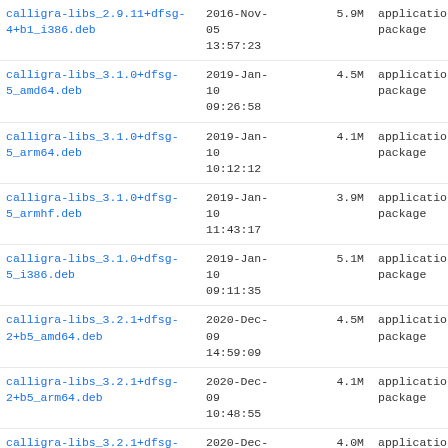| Name | Date | Size | Type |
| --- | --- | --- | --- |
| calligra-libs_2.9.11+dfsg-4+b1_i386.deb | 2016-Nov-05 13:57:23 | 5.9M | application/v package |
| calligra-libs_3.1.0+dfsg-5_amd64.deb | 2019-Jan-10 09:26:58 | 4.5M | application/v package |
| calligra-libs_3.1.0+dfsg-5_arm64.deb | 2019-Jan-10 10:12:12 | 4.1M | application/v package |
| calligra-libs_3.1.0+dfsg-5_armhf.deb | 2019-Jan-10 11:43:17 | 3.9M | application/v package |
| calligra-libs_3.1.0+dfsg-5_i386.deb | 2019-Jan-10 09:11:35 | 5.1M | application/v package |
| calligra-libs_3.2.1+dfsg-2+b5_amd64.deb | 2020-Dec-09 14:59:09 | 4.5M | application/v package |
| calligra-libs_3.2.1+dfsg-2+b5_arm64.deb | 2020-Dec-09 10:48:55 | 4.1M | application/v package |
| calligra-libs_3.2.1+dfsg-2+b5_armhf.deb | 2020-Dec-09 14:58:59 | 4.0M | application/v package |
| calligra-libs_3.2.1+dfsg-2+b5_i386.deb | 2020-Dec-09 14:13:32 | 5.0M | application/v package |
| calligra-libs_3.2.1+dfsg-6_amd64.deb | 2022-Jul-06 14:41:33 | 4.8M | application/v package |
| calligra-libs_3.2.1+dfsg-6_arm64.deb | 2022-Jul-06 | 4.4M | application/v package |